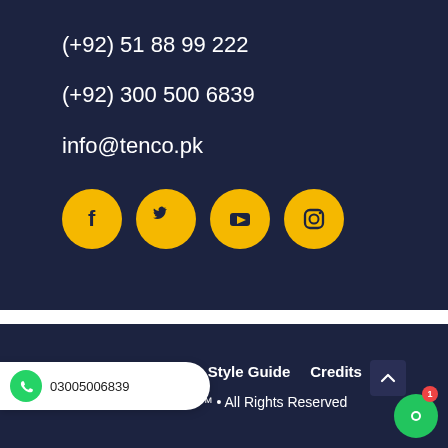(+92) 51 88 99 222
(+92) 300 500 6839
info@tenco.pk
[Figure (infographic): Four yellow circular social media icons: Facebook (f), Twitter (bird), YouTube (play button), Instagram (camera)]
Privacy Policy   Style Guide   Credits
© 2022 TENCO™ • All Rights Reserved